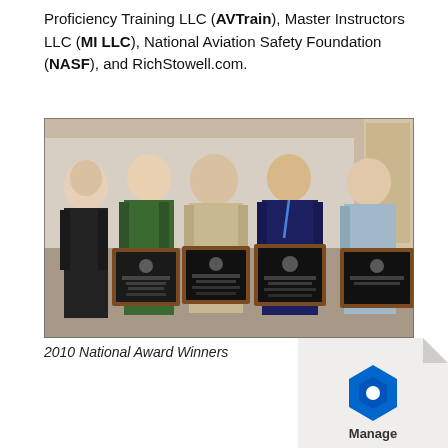Proficiency Training LLC (AVTrain), Master Instructors LLC (MI LLC), National Aviation Safety Foundation (NASF), and RichStowell.com.
[Figure (photo): Five men standing together, four holding framed award plaques. 2010 National Award Winners.]
2010 National Award Winners